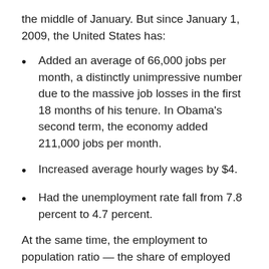the middle of January. But since January 1, 2009, the United States has:
Added an average of 66,000 jobs per month, a distinctly unimpressive number due to the massive job losses in the first 18 months of his tenure. In Obama's second term, the economy added 211,000 jobs per month.
Increased average hourly wages by $4.
Had the unemployment rate fall from 7.8 percent to 4.7 percent.
At the same time, the employment to population ratio — the share of employed people relative to the overall population — fell 1 percentage point and remains well below where it was before the Great Recession and even further below where it was at